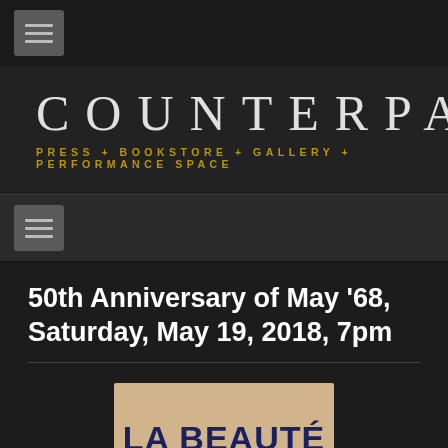☰
COUNTERPATH
PRESS + BOOKSTORE + GALLERY + PERFORMANCE SPACE
☰
50th Anniversary of May '68, Saturday, May 19, 2018, 7pm
[Figure (photo): Poster image showing hand-lettered text 'LA BEAUTÉ' in dark blue on a cream/beige background, partially visible]